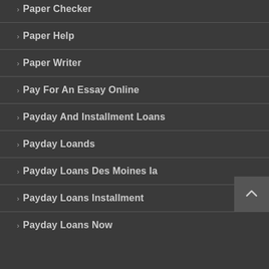Paper Checker
Paper Help
Paper Writer
Pay For An Essay Online
Payday And Installment Loans
Payday Loands
Payday Loans Des Moines Ia
Payday Loans Installment
Payday Loans Now